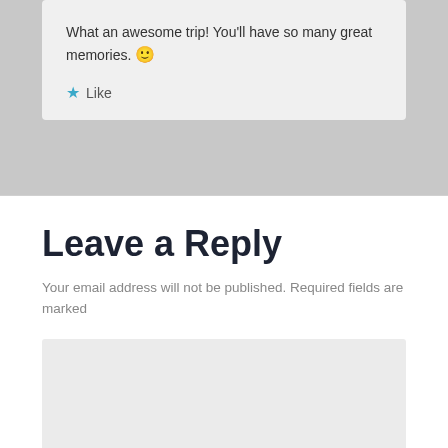What an awesome trip! You'll have so many great memories. 🙂
★ Like
Leave a Reply
Your email address will not be published. Required fields are marked
[Figure (other): Empty text input area / comment box (gray rectangle)]